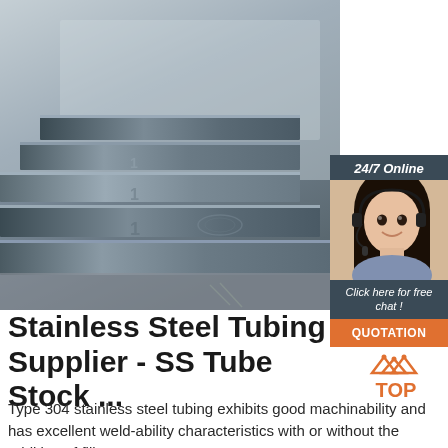[Figure (photo): Stack of stainless steel flat plates/sheets piled on top of each other, metallic grey color, industrial setting]
[Figure (infographic): 24/7 Online chat box with woman wearing headset, 'Click here for free chat!' text and orange QUOTATION button]
Stainless Steel Tubing Supplier - SS Tube Stock ...
[Figure (logo): TOP logo with orange mountain/chevron icon and orange TOP text]
Type 304 stainless steel tubing exhibits good machinability and has excellent weld-ability characteristics with or without the addition of filler